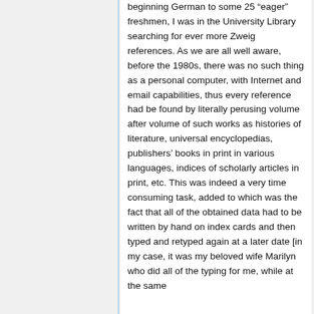beginning German to some 25 “eager” freshmen, I was in the University Library searching for ever more Zweig references. As we are all well aware, before the 1980s, there was no such thing as a personal computer, with Internet and email capabilities, thus every reference had be found by literally perusing volume after volume of such works as histories of literature, universal encyclopedias, publishers’ books in print in various languages, indices of scholarly articles in print, etc. This was indeed a very time consuming task, added to which was the fact that all of the obtained data had to be written by hand on index cards and then typed and retyped again at a later date [in my case, it was my beloved wife Marilyn who did all of the typing for me, while at the same